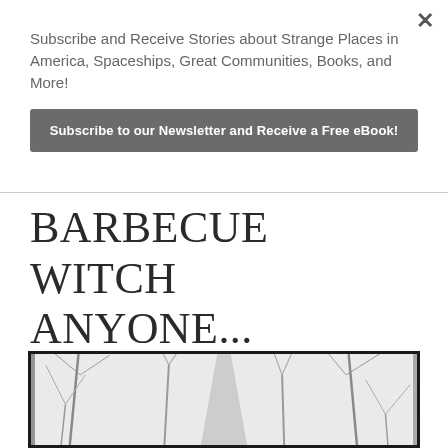Subscribe and Receive Stories about Strange Places in America, Spaceships, Great Communities, Books, and More!
Subscribe to our Newsletter and Receive a Free eBook!
BARBECUE WITCH ANYONE...
[Figure (photo): Black and white vintage-style photograph with dark vignette border showing bare winter trees through fog, with a triangular shape (possibly a tent or structure) visible in the background through the misty tree branches.]